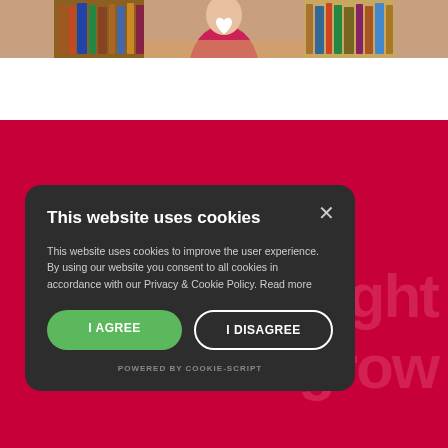[Figure (photo): A person in a pink/magenta top standing in front of bookshelves, with a white heart shape on their chest. The image is cropped at the top.]
[Figure (infographic): Red/crimson background section with large partially visible white text showing 'right' and 'grow' and '...' on the right side, representing background text of a webpage.]
This website uses cookies
This website uses cookies to improve the user experience. By using our website you consent to all cookies in accordance with our Privacy & Cookie Policy. Read more
I AGREE
I DISAGREE
POWERED BY COOKIE-SCRIPT